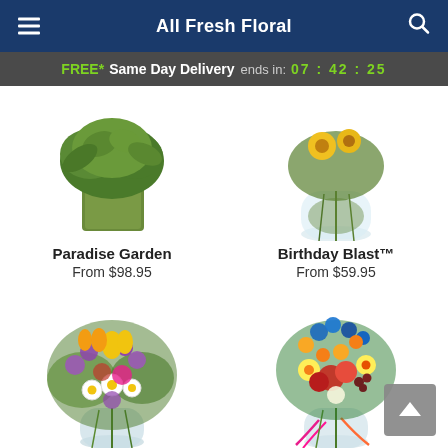All Fresh Floral
FREE* Same Day Delivery ends in: 07:42:25
[Figure (photo): Paradise Garden floral arrangement in a green square vase with green foliage, partially visible at top]
Paradise Garden
From $98.95
[Figure (photo): Birthday Blast floral arrangement in a clear glass vase with colorful flowers, partially visible at top]
Birthday Blast™
From $59.95
[Figure (photo): Spring bouquet with yellow, purple, white, and pink flowers including daisies, tulips, roses in a clear glass vase]
[Figure (photo): Colorful birthday bouquet with red, yellow, blue flowers and decorative ribbons in a clear glass vase]